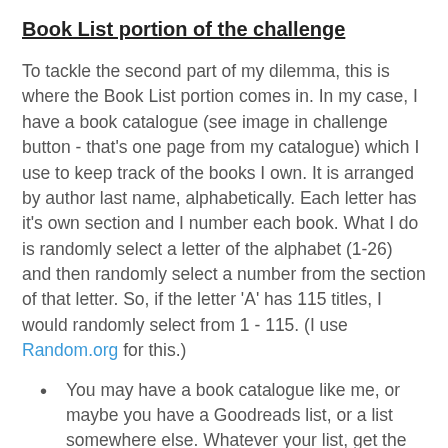Book List portion of the challenge
To tackle the second part of my dilemma, this is where the Book List portion comes in. In my case, I have a book catalogue (see image in challenge button - that's one page from my catalogue) which I use to keep track of the books I own. It is arranged by author last name, alphabetically. Each letter has it's own section and I number each book. What I do is randomly select a letter of the alphabet (1-26) and then randomly select a number from the section of that letter. So, if the letter 'A' has 115 titles, I would randomly select from 1 - 115. (I use Random.org for this.)
You may have a book catalogue like me, or maybe you have a Goodreads list, or a list somewhere else. Whatever your list, get the total number of books, say 95 books, plug in 1 - 95 in the randomizer and Voila!
Draw one book per month (or as often as you like)
Three draws allowed, in case I'm just not in the